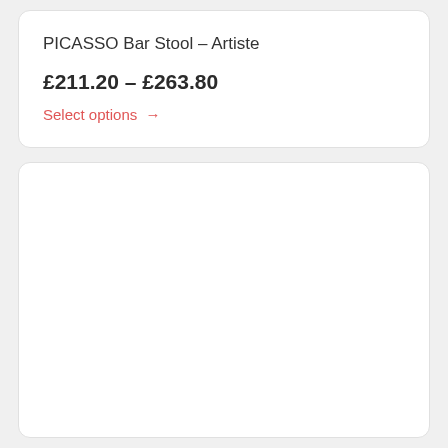PICASSO Bar Stool – Artiste
£211.20 – £263.80
Select options →